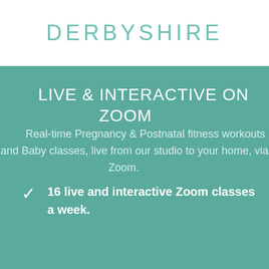DERBYSHIRE
LIVE & INTERACTIVE ON ZOOM
Real-time Pregnancy & Postnatal fitness workouts and Baby classes, live from our studio to your home, via Zoom.
16 live and interactive Zoom classes a week.